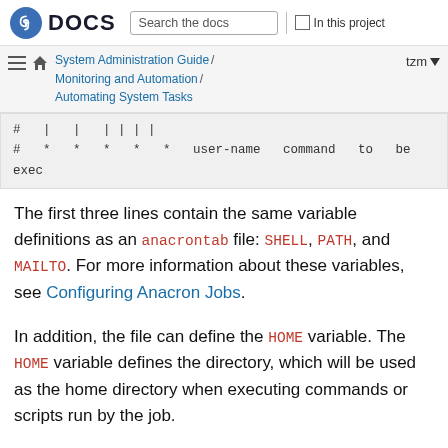Fedora DOCS | Search the docs | In this project
System Administration Guide / Monitoring and Automation / Automating System Tasks | tzm
# | | | | | |
# * * * * * user-name command to be exec
The first three lines contain the same variable definitions as an anacrontab file: SHELL, PATH, and MAILTO. For more information about these variables, see Configuring Anacron Jobs.
In addition, the file can define the HOME variable. The HOME variable defines the directory, which will be used as the home directory when executing commands or scripts run by the job.